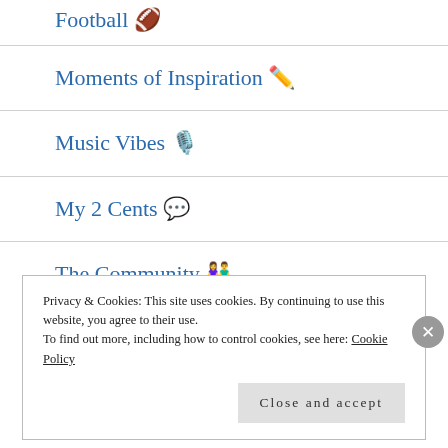Football 🏈
Moments of Inspiration ✏️
Music Vibes 🎙️
My 2 Cents 💬
The Community 👫
Privacy & Cookies: This site uses cookies. By continuing to use this website, you agree to their use.
To find out more, including how to control cookies, see here: Cookie Policy
Close and accept